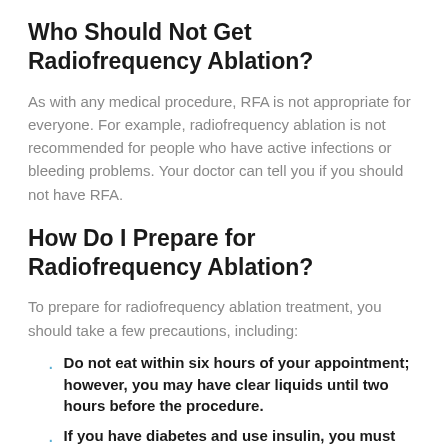Who Should Not Get Radiofrequency Ablation?
As with any medical procedure, RFA is not appropriate for everyone. For example, radiofrequency ablation is not recommended for people who have active infections or bleeding problems. Your doctor can tell you if you should not have RFA.
How Do I Prepare for Radiofrequency Ablation?
To prepare for radiofrequency ablation treatment, you should take a few precautions, including:
Do not eat within six hours of your appointment; however, you may have clear liquids until two hours before the procedure.
If you have diabetes and use insulin, you must